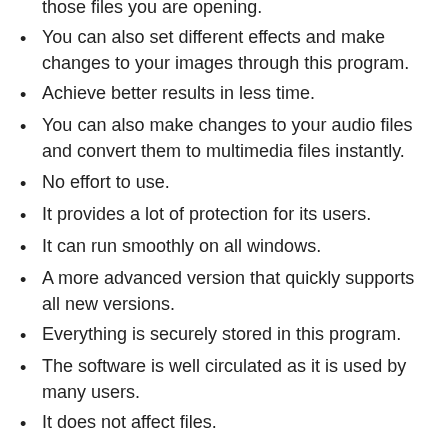those files you are opening.
You can also set different effects and make changes to your images through this program.
Achieve better results in less time.
You can also make changes to your audio files and convert them to multimedia files instantly.
No effort to use.
It provides a lot of protection for its users.
It can run smoothly on all windows.
A more advanced version that quickly supports all new versions.
Everything is securely stored in this program.
The software is well circulated as it is used by many users.
It does not affect files.